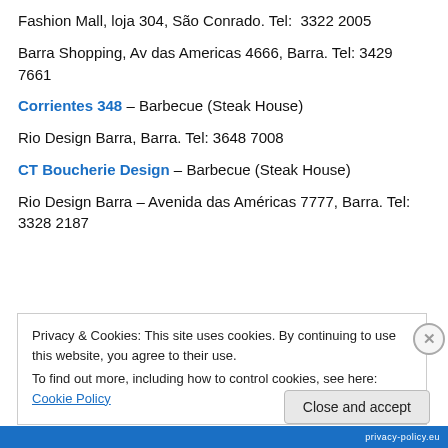Fashion Mall, loja 304, São Conrado. Tel:  3322 2005
Barra Shopping, Av das Americas 4666, Barra. Tel: 3429 7661
Corrientes 348 – Barbecue (Steak House)
Rio Design Barra, Barra. Tel: 3648 7008
CT Boucherie Design – Barbecue (Steak House)
Rio Design Barra – Avenida das Américas 7777, Barra. Tel: 3328 2187
Privacy & Cookies: This site uses cookies. By continuing to use this website, you agree to their use. To find out more, including how to control cookies, see here: Cookie Policy
Close and accept